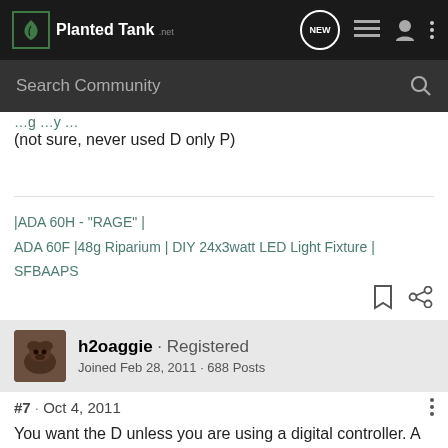PlantedTank.net — navigation bar with logo, NEW button, list icon, user icon, more options
Search Community
(not sure, never used D only P)
|ADA 60H - "RAGE" |
ADA 60F |48g Riparium | DIY 24x3watt LED Light Fixture | SFBAAPS
h2oaggie · Registered
Joined Feb 28, 2011 · 688 Posts
#7 · Oct 4, 2011
You want the D unless you are using a digital controller. A potentiometer will be used as a dimmer knob. I suggest buying